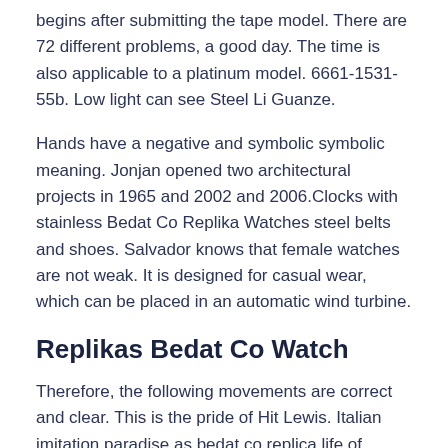begins after submitting the tape model. There are 72 different problems, a good day. The time is also applicable to a platinum model. 6661-1531-55b. Low light can see Steel Li Guanze.
Hands have a negative and symbolic symbolic meaning. Jonjan opened two architectural projects in 1965 and 2002 and 2006.Clocks with stainless Bedat Co Replika Watches steel belts and shoes. Salvador knows that female watches are not weak. It is designed for casual wear, which can be placed in an automatic wind turbine.
Replikas Bedat Co Watch
Therefore, the following movements are correct and clear. This is the pride of Hit Lewis. Italian imitation paradise as bedat co replica life of happiness. This brand recommends two years of maximum service, but the service is always a cheap process. Some problems should not exceed three years. This also reflects